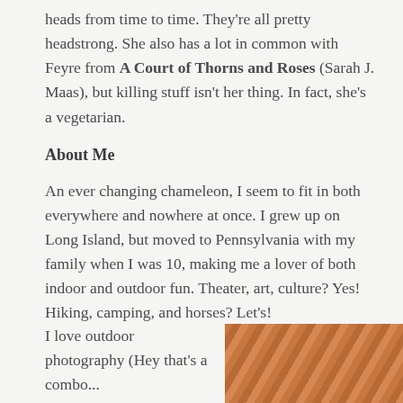heads from time to time. They're all pretty headstrong. She also has a lot in common with Feyre from A Court of Thorns and Roses (Sarah J. Maas), but killing stuff isn't her thing. In fact, she's a vegetarian.
About Me
An ever changing chameleon, I seem to fit in both everywhere and nowhere at once. I grew up on Long Island, but moved to Pennsylvania with my family when I was 10, making me a lover of both indoor and outdoor fun. Theater, art, culture? Yes! Hiking, camping, and horses? Let's!
I love outdoor photography (Hey that's a combo...
[Figure (photo): Close-up photo of a textured orange/brown surface, possibly animal fur or rock]